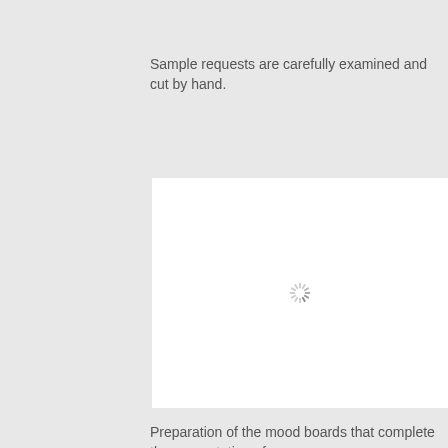Sample requests are carefully examined and cut by hand.
[Figure (photo): White image placeholder with a loading spinner icon in the center]
Preparation of the mood boards that complete the presentation of
[Figure (photo): White image placeholder partially visible at the bottom of the page]